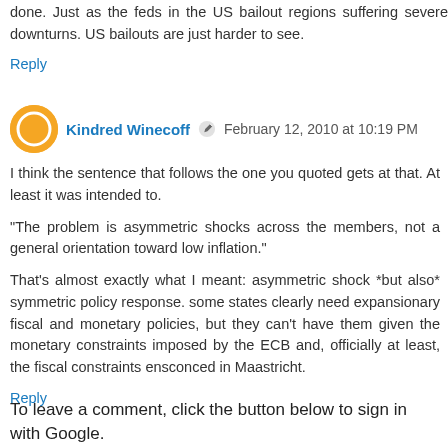done. Just as the feds in the US bailout regions suffering severe downturns. US bailouts are just harder to see.
Reply
Kindred Winecoff  February 12, 2010 at 10:19 PM
I think the sentence that follows the one you quoted gets at that. At least it was intended to.
"The problem is asymmetric shocks across the members, not a general orientation toward low inflation."
That's almost exactly what I meant: asymmetric shock *but also* symmetric policy response. some states clearly need expansionary fiscal and monetary policies, but they can't have them given the monetary constraints imposed by the ECB and, officially at least, the fiscal constraints ensconced in Maastricht.
Reply
To leave a comment, click the button below to sign in with Google.